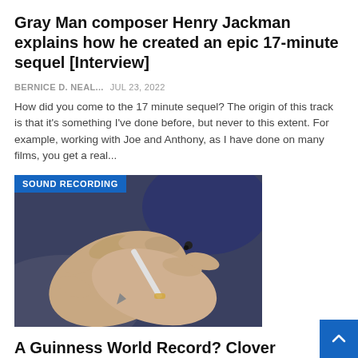Gray Man composer Henry Jackman explains how he created an epic 17-minute sequel [Interview]
BERNICE D. NEAL...   Jul 23, 2022
How did you come to the 17 minute sequel? The origin of this track is that it's something I've done before, but never to this extent. For example, working with Joe and Anthony, as I have done on many films, you get a real...
[Figure (photo): Hands holding a pen, close-up photo with a 'SOUND RECORDING' badge overlay in the top-left corner]
A Guinness World Record? Clover collection could bring good luck to former Nixa Police Department...
BERNICE D. NEAL...   Jul 23, 2022
SPRINGFIELD, Mo. (KY3) – A former Nixa Police Department chief about to enter the Guinness World Records books for something